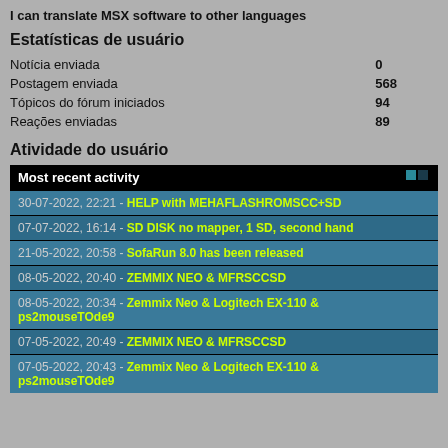I can translate MSX software to other languages
Estatísticas de usuário
| Notícia enviada | 0 |
| Postagem enviada | 568 |
| Tópicos do fórum iniciados | 94 |
| Reações enviadas | 89 |
Atividade do usuário
Most recent activity
30-07-2022, 22:21 - HELP with MEHAFLASHROMSCC+SD
07-07-2022, 16:14 - SD DISK no mapper, 1 SD, second hand
21-05-2022, 20:58 - SofaRun 8.0 has been released
08-05-2022, 20:40 - ZEMMIX NEO & MFRSCCSD
08-05-2022, 20:34 - Zemmix Neo & Logitech EX-110 & ps2mouseTOde9
07-05-2022, 20:49 - ZEMMIX NEO & MFRSCCSD
07-05-2022, 20:43 - Zemmix Neo & Logitech EX-110 & ps2mouseTOde9